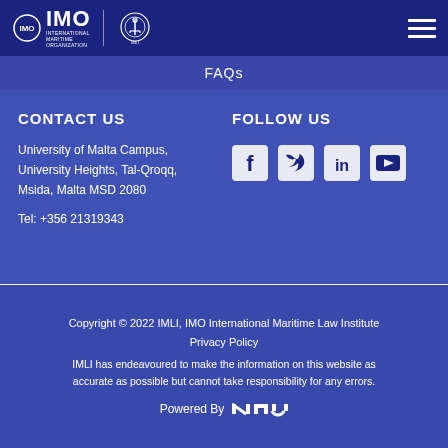IMO International Maritime Organization | IMLI
FAQs
CONTACT US
University of Malta Campus, University Heights, Tal-Qroqq, Msida, Malta MSD 2080
Tel: +356 21319343
FOLLOW US
[Figure (infographic): Social media icons: Facebook, Twitter, LinkedIn, YouTube]
Copyright © 2022 IMLI, IMO International Maritime Law Institute
Privacy Policy
IMLI has endeavoured to make the information on this website as accurate as possible but cannot take responsibility for any errors.
Powered By NIU